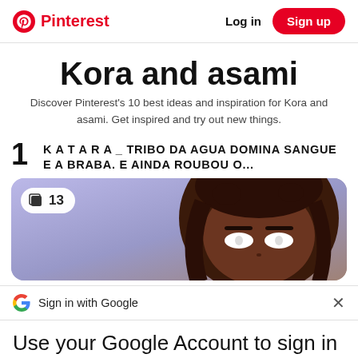Pinterest | Log in | Sign up
Kora and asami
Discover Pinterest's 10 best ideas and inspiration for Kora and asami. Get inspired and try out new things.
1  KATARA_ TRIBO DA AGUA DOMINA SANGUE E A BRABA. E AINDA ROUBOU O...
[Figure (illustration): Anime-style illustration of a dark-skinned character with brown hair and glowing white eyes, on a purple/blue background. Badge showing 13 pins/saves.]
Sign in with Google
Use your Google Account to sign in to Pinterest